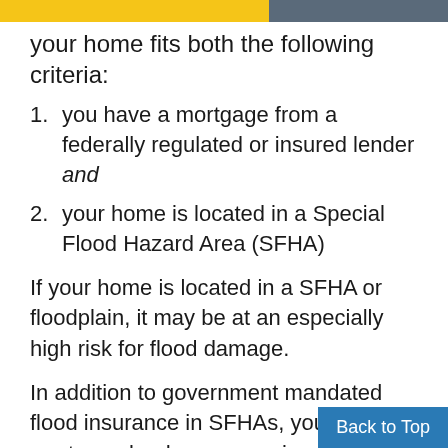your home fits both the following criteria:
you have a mortgage from a federally regulated or insured lender and
your home is located in a Special Flood Hazard Area (SFHA)
If your home is located in a SFHA or floodplain, it may be at an especially high risk for flood damage.
In addition to government mandated flood insurance in SFHAs, your mortgage lender can require you to purchase a flood insurance policy. If you live in a lower risk area, private flood insurance poli... cheap. New legislation requires le...